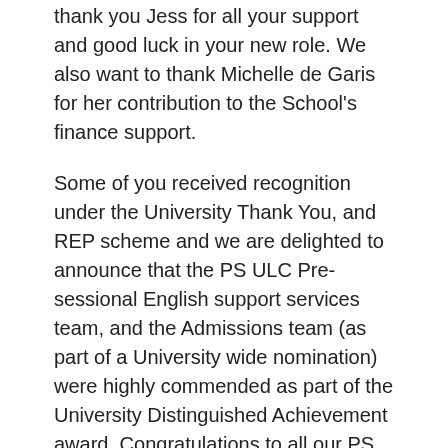thank you Jess for all your support and good luck in your new role.  We also want to thank Michelle de Garis for her contribution to the School's finance support.
Some of you received recognition under the University Thank You, and REP scheme and we are delighted to announce that the PS ULC Pre-sessional English support services team, and the Admissions team (as part of a University wide nomination) were highly commended as part of the University Distinguished Achievement award. Congratulations to all our PS colleagues.  Several of you are also attending the new Humanities Future Leaders programmes or have applied for the next cohorts – and we are pleased to have your involvement. Do continue to think about your own learning and development as we approach PDRs.
Academic staff updates